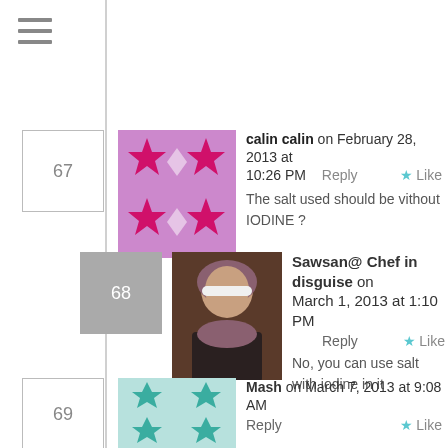[Figure (other): Hamburger menu icon (three horizontal lines)]
67 — calin calin on February 28, 2013 at 10:26 PM — Reply — Like — The salt used should be vithout IODINE ?
68 — Sawsan@ Chef in disguise on March 1, 2013 at 1:10 PM — Reply — Like — No, you can use salt with iodine in it
69 — Mash on March 7, 2013 at 9:08 AM — Reply — Like